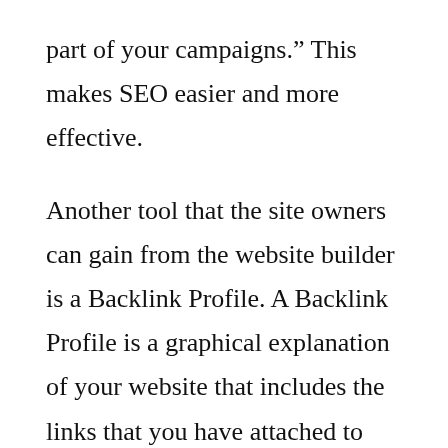part of your campaigns.” This makes SEO easier and more effective.
Another tool that the site owners can gain from the website builder is a Backlink Profile. A Backlink Profile is a graphical explanation of your website that includes the links that you have attached to your page. The idea behind backlinks is that the more quality, relevant backlinks you have, the more credible and trusted you will be. The more backlinks the more...